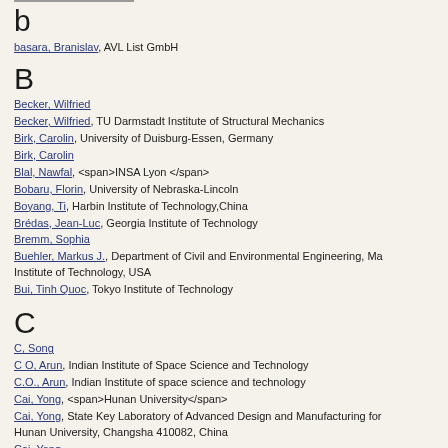b
basara, Branislav, AVL List GmbH
B
Becker, Wilfried
Becker, Wilfried, TU Darmstadt Institute of Structural Mechanics
Birk, Carolin, University of Duisburg-Essen, Germany
Birk, Carolin
Blal, Nawfal, <span>INSA Lyon </span>
Bobaru, Florin, University of Nebraska-Lincoln
Boyang, Ti, Harbin Institute of Technology,China
Brédas, Jean-Luc, Georgia Institute of Technology
Bremm, Sophia
Buehler, Markus J., Department of Civil and Environmental Engineering, Massachusetts Institute of Technology, USA
Bui, Tinh Quoc, Tokyo Institute of Technology
C
C, Song
C O, Arun, Indian Institute of Space Science and Technology
C.O., Arun, Indian Institute of space science and technology
Cai, Yong, <span>Hunan University</span>
Cai, Yong, State Key Laboratory of Advanced Design and Manufacturing for Vehicle Body, Hunan University, Changsha 410082, China
Cai, Yong
Cao, Lixiong, Hunan University
Cao, Qiang, Wuhan University
Cao, Xiaojian, Dalian University of Technology
Carvalho, Marcelo, <p>School of Civil Engineering, The University of Sydney, 2006, Australia.</p>
Chai, Yingbin
Chan, Tammy L.T., Queensland University of Technology